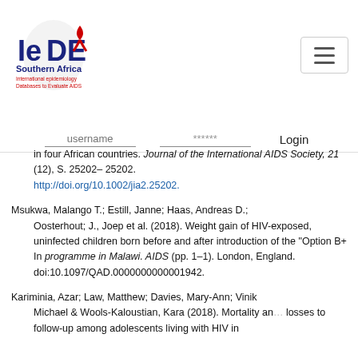IeDE Southern Africa — International Epidemiology Databases to Evaluate AIDS
in four African countries. Journal of the International AIDS Society, 21 (12), S. 25202– 25202. http://doi.org/10.1002/jia2.25202.
Msukwa, Malango T.; Estill, Janne; Haas, Andreas D.; Oosterhout; J., Joep et al. (2018). Weight gain of HIV-exposed, uninfected children born before and after introduction of the "Option B+ In programme in Malawi. AIDS (pp. 1–1). London, England. doi:10.1097/QAD.0000000000001942.
Kariminia, Azar; Law, Matthew; Davies, Mary-Ann; Vinik Michael & Wools-Kaloustian, Kara (2018). Mortality and losses to follow-up among adolescents living with HIV in